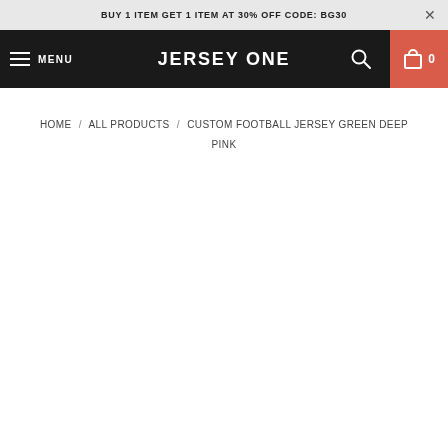BUY 1 ITEM GET 1 ITEM AT 30% OFF CODE: BG30
JERSEY ONE
HOME / ALL PRODUCTS / CUSTOM FOOTBALL JERSEY GREEN DEEP PINK